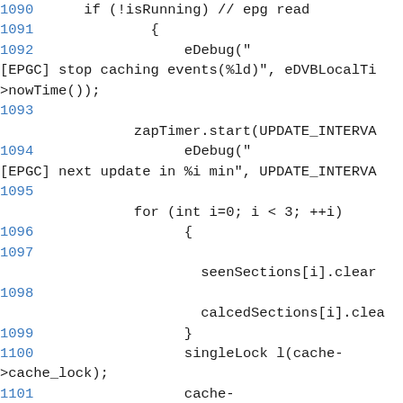[Figure (screenshot): Source code listing showing C++ code lines 1090-1101, with line numbers in blue and code in monospace font. Code includes eDebug calls, zapTimer.start, for loop, seenSections[i].clear, calcedSections[i].clear, singleLock, and cache->channelLastUpdated.]